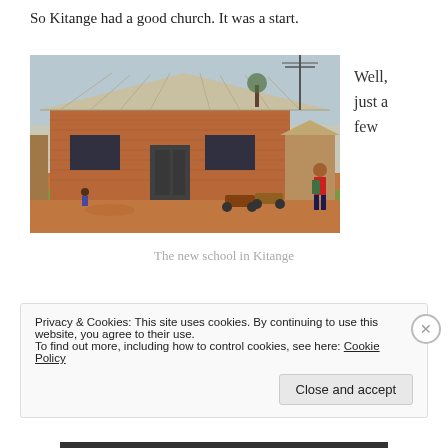So Kitange had a good church. It was a start.
[Figure (photo): A brick church/school building in Kitange with a corrugated metal roof, red dirt ground, green grass strip, motorcycles parked nearby, and people walking around.]
Well, just a few
The new school in Kitange
Privacy & Cookies: This site uses cookies. By continuing to use this website, you agree to their use.
To find out more, including how to control cookies, see here: Cookie Policy
Close and accept